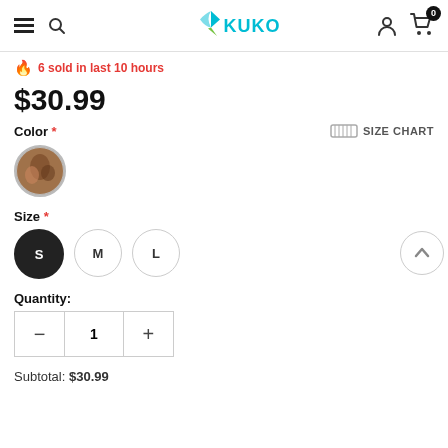Kukombo — navigation header
🔥 6 sold in last 10 hours
$30.99
Color *
SIZE CHART
[Figure (other): Circular color swatch showing a brown/tan patterned fabric]
Size *
S  M  L — size selector buttons, S selected
Quantity:
1
Subtotal: $30.99